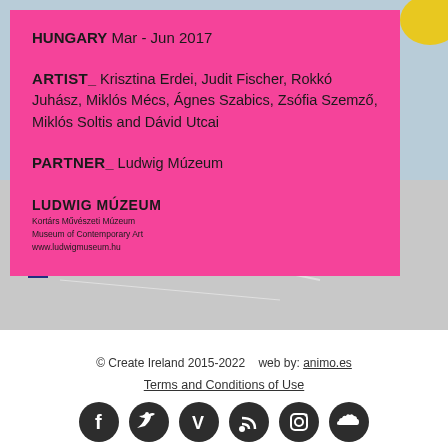[Figure (photo): Background photo of children playing outdoors on pavement with chalk drawings]
HUNGARY Mar - Jun 2017
ARTIST_ Krisztina Erdei, Judit Fischer, Rokkó Juhász, Miklós Mécs, Ágnes Szabics, Zsófia Szemző, Miklós Soltis and Dávid Utcai
PARTNER_ Ludwig Múzeum
[Figure (logo): Ludwig Múzeum logo with text: LUDWIG MÚZEUM, Kortárs Művészeti Múzeum, Museum of Contemporary Art, www.ludwigmuseum.hu]
© Create Ireland 2015-2022    web by: animo.es
Terms and Conditions of Use
[Figure (infographic): Six social media icons: Facebook, Twitter, Vimeo, RSS, Instagram, SoundCloud]